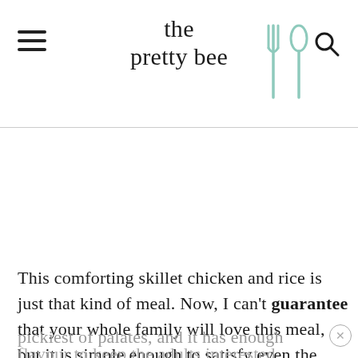the pretty bee
[Figure (other): White space / advertisement area]
This comforting skillet chicken and rice is just that kind of meal. Now, I can't guarantee that your whole family will love this meal, but it is simple enough to satisfy even the pickiest of palates, and it has enough flavour to keep the adults interested.